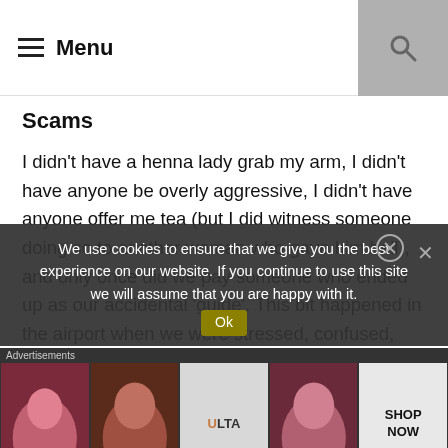Menu
Scams
I didn't have a henna lady grab my arm, I didn't have anyone be overly aggressive, I didn't have anyone offer me tea (but I did witness someone doing so to another woman who gave him hell), and only once did we pay someone who ended up as our accidental 'guide'. This bit happened in the airport when we were stressed, confused, and happy fine with paying. But, did we get ripped off from our cab drivers or in the souks? Absolutely. Cab drivers will constantly rip you off, no matter the country you're in, and especially if you're coming or going to an airport. Guys, I once paid 60 bucks to drive for 3 minutes
We use cookies to ensure that we give you the best experience on our website. If you continue to use this site we will assume that you are happy with it.
[Figure (screenshot): Advertisement banner with Ulta beauty makeup images and SHOP NOW call to action]